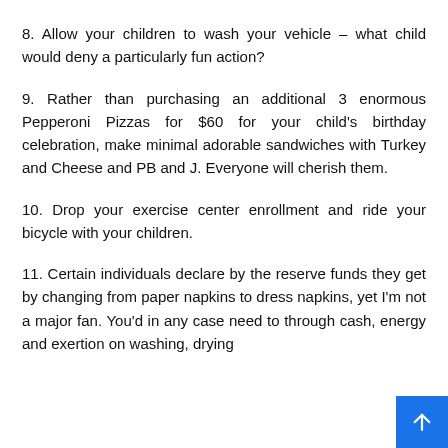8. Allow your children to wash your vehicle – what child would deny a particularly fun action?
9. Rather than purchasing an additional 3 enormous Pepperoni Pizzas for $60 for your child's birthday celebration, make minimal adorable sandwiches with Turkey and Cheese and PB and J. Everyone will cherish them.
10. Drop your exercise center enrollment and ride your bicycle with your children.
11. Certain individuals declare by the reserve funds they get by changing from paper napkins to dress napkins, yet I'm not a major fan. You'd in any case need to through cash, energy and exertion on washing, drying